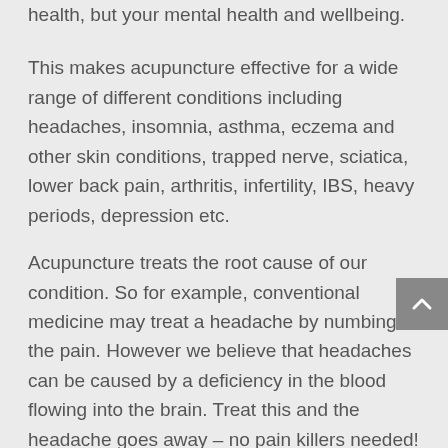health, but your mental health and wellbeing.
This makes acupuncture effective for a wide range of different conditions including headaches, insomnia, asthma, eczema and other skin conditions, trapped nerve, sciatica, lower back pain, arthritis, infertility, IBS, heavy periods, depression etc.
Acupuncture treats the root cause of our condition. So for example, conventional medicine may treat a headache by numbing the pain. However we believe that headaches can be caused by a deficiency in the blood flowing into the brain. Treat this and the headache goes away – no pain killers needed! We treated the cause, not the symptom.
The benefits of traditional acupuncture have been